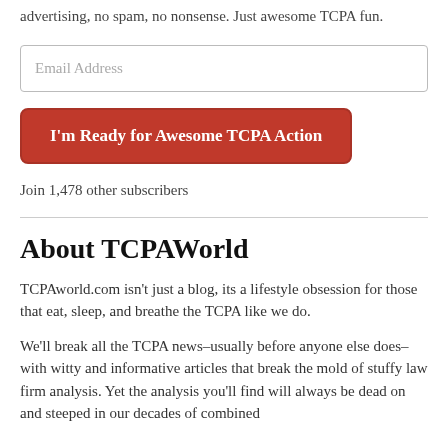advertising, no spam, no nonsense. Just awesome TCPA fun.
Email Address
I'm Ready for Awesome TCPA Action
Join 1,478 other subscribers
About TCPAWorld
TCPAworld.com isn't just a blog, its a lifestyle obsession for those that eat, sleep, and breathe the TCPA like we do.
We'll break all the TCPA news–usually before anyone else does–with witty and informative articles that break the mold of stuffy law firm analysis. Yet the analysis you'll find will always be dead on and steeped in our decades of combined